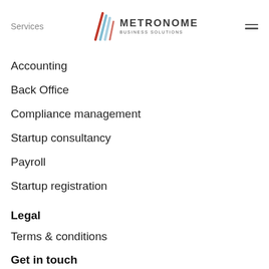Services
[Figure (logo): Metronome Business Solutions logo with stylized diagonal lines icon and text]
Accounting
Back Office
Compliance management
Startup consultancy
Payroll
Startup registration
Legal
Terms & conditions
Get in touch